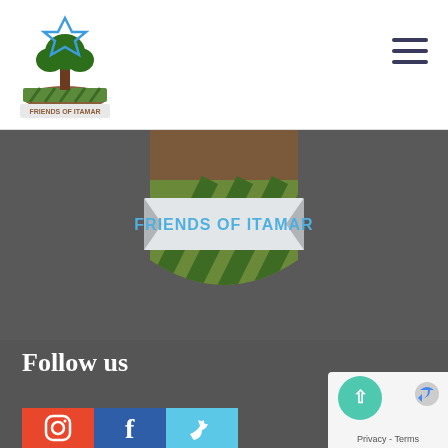[Figure (logo): Friends of Itamar logo with tree, Star of David and banner]
[Figure (illustration): Hamburger/menu icon with three horizontal lines]
[Figure (illustration): Friends of Itamar shield graphic with green and brown stripes and a white ribbon banner reading FRIENDS OF ITAMAR in blue text]
Follow us
[Figure (illustration): Social media icons row: Instagram (red/orange), Facebook (blue), Twitter (light blue)]
[Figure (illustration): reCAPTCHA privacy badge with teal up-arrow button and Privacy - Terms text]